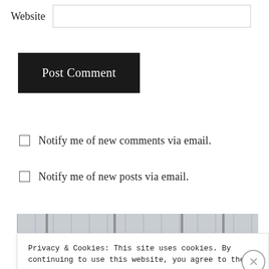Website
Post Comment
Notify me of new comments via email.
Notify me of new posts via email.
[Figure (photo): Partial view of an image strip with a gray textured background and vertical dark lines.]
Privacy & Cookies: This site uses cookies. By continuing to use this website, you agree to their use.
To find out more, including how to control cookies, see here: Cookie Policy
Close and accept